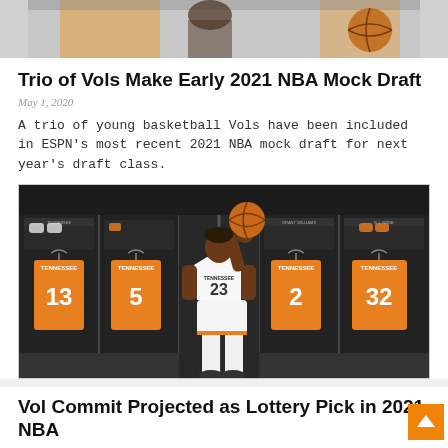[Figure (photo): Top cropped photo showing basketball players in orange uniforms, partial view]
Trio of Vols Make Early 2021 NBA Mock Draft
May 1, 2020
A trio of young basketball Vols have been included in ESPN's most recent 2021 NBA mock draft for next year's draft class.
[Figure (photo): Tennessee basketball recruit in white TENNESSEE #23 jersey spinning a basketball in a locker room, with orange #13, #5, #2, #32 jerseys hanging in background]
Vol Commit Projected as Lottery Pick in 2021 NBA